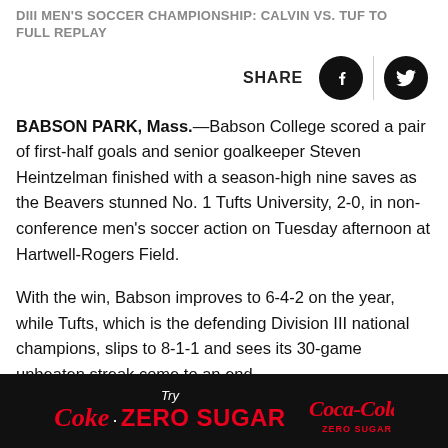DIII MEN'S SOCCER CHAMPIONSHIP: CALVIN VS. TUF TO FULL REPLAY
BABSON PARK, Mass.—Babson College scored a pair of first-half goals and senior goalkeeper Steven Heintzelman finished with a season-high nine saves as the Beavers stunned No. 1 Tufts University, 2-0, in non-conference men's soccer action on Tuesday afternoon at Hartwell-Rogers Field.
With the win, Babson improves to 6-4-2 on the year, while Tufts, which is the defending Division III national champions, slips to 8-1-1 and sees its 30-game unbeaten streak come to an end.
[Figure (infographic): Advertisement banner: Try Coke Zero Sugar with Coca-Cola Zero Sugar logo on black background]